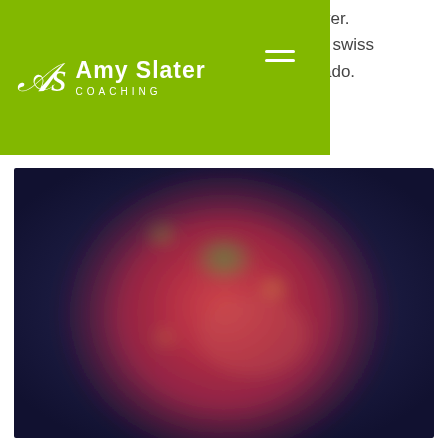Amy Slater COACHING
ver.
r swiss
ado.
[Figure (photo): Blurred overhead photo of a red bowl containing colorful vegetables and greens on a dark blue background]
The invisible vegetables are even more powerful because I can get a lot in them. I use my absolute favorite kitchen essential, my Vitamix every day. You can pack a smoothie full of raw greens, celery, cauliflower, carrots, and fresh herbs, then